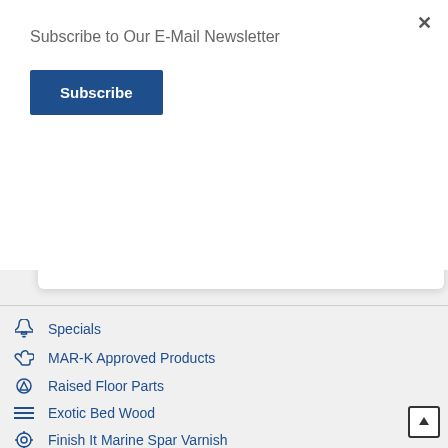Subscribe to Our E-Mail Newsletter
Subscribe
6
Catalog Page (PDF)
Specials
MAR-K Approved Products
Raised Floor Parts
Exotic Bed Wood
Finish It Marine Spar Varnish
Gift Certificates